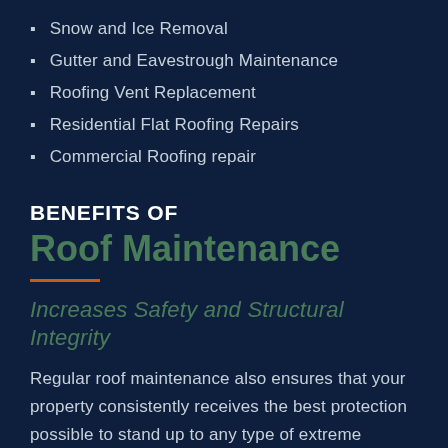Snow and Ice Removal
Gutter and Eavestrough Maintenance
Roofing Vent Replacement
Residential Flat Roofing Repairs
Commercial Roofing repair
BENEFITS OF
Roof Maintenance
Increases Safety and Structural Integrity
Regular roof maintenance also ensures that your property consistently receives the best protection possible to stand up to any type of extreme weather condition or damage from